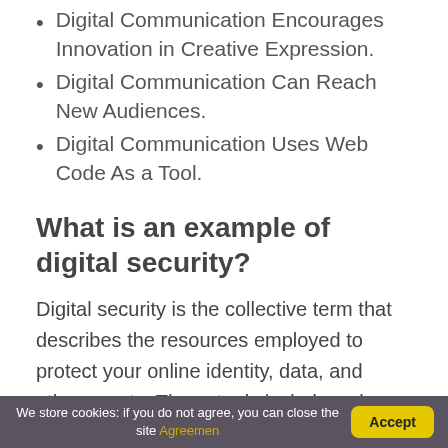Digital Communication Encourages Innovation in Creative Expression.
Digital Communication Can Reach New Audiences.
Digital Communication Uses Web Code As a Tool.
What is an example of digital security?
Digital security is the collective term that describes the resources employed to protect your online identity, data, and other assets. These tools include web services, antivirus software, smartphone SIM
We store cookies: if you do not agree, you can close the site Agreemen   Accept